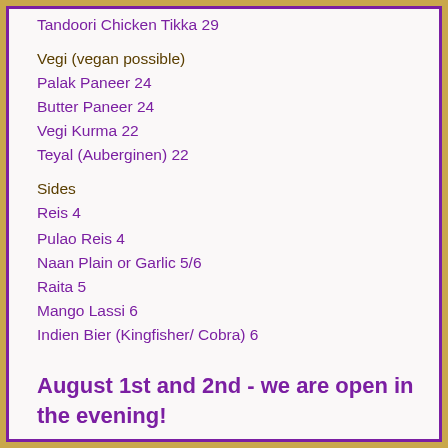Tandoori Chicken Tikka 29
Vegi (vegan possible)
Palak Paneer 24
Butter Paneer 24
Vegi Kurma 22
Teyal (Auberginen) 22
Sides
Reis 4
Pulao Reis 4
Naan Plain or Garlic 5/6
Raita 5
Mango Lassi 6
Indien Bier (Kingfisher/ Cobra) 6
August 1st and 2nd - we are open in the evening!